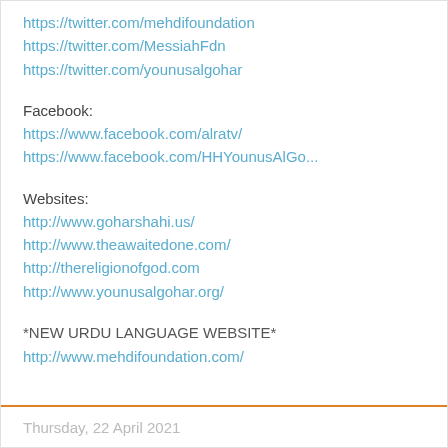https://twitter.com/mehdifoundation
https://twitter.com/MessiahFdn
https://twitter.com/younusalgohar
Facebook:
https://www.facebook.com/alratv/
https://www.facebook.com/HHYounusAlGo...
Websites:
http://www.goharshahi.us/
http://www.theawaitedone.com/
http://thereligionofgod.com
http://www.younusalgohar.org/
*NEW URDU LANGUAGE WEBSITE*
http://www.mehdifoundation.com/
Younus AlGohar at 23:28   No comments:
Thursday, 22 April 2021